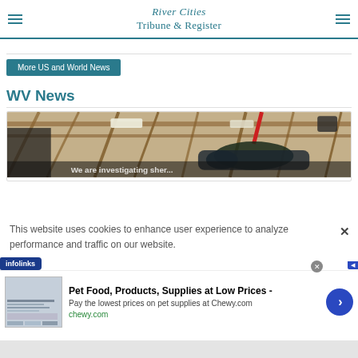River Cities Tribune & Register
More US and World News
WV News
[Figure (photo): Interior of a gymnasium with rafters, lighting, and what appears to be a drone or vehicle near the ceiling; partially visible text overlay at bottom]
This website uses cookies to enhance user experience to analyze performance and traffic on our website.
infolinks
Pet Food, Products, Supplies at Low Prices -
Pay the lowest prices on pet supplies at Chewy.com
chewy.com